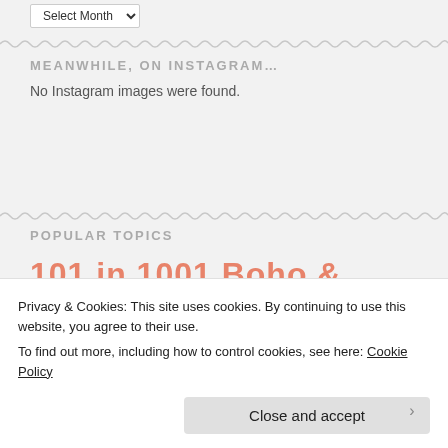Select Month
MEANWHILE, ON INSTAGRAM...
No Instagram images were found.
POPULAR TOPICS
101 in 1001 Boho & Bean
Privacy & Cookies: This site uses cookies. By continuing to use this website, you agree to their use.
To find out more, including how to control cookies, see here: Cookie Policy
Close and accept